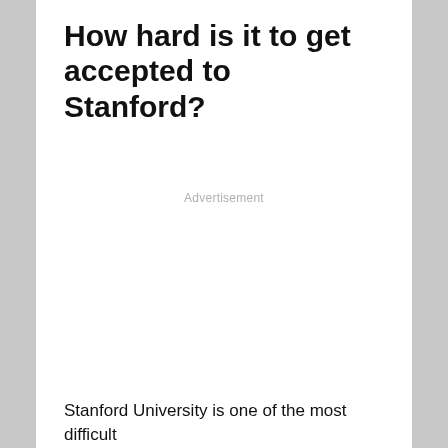How hard is it to get accepted to Stanford?
Advertisement
Stanford University is one of the most difficult